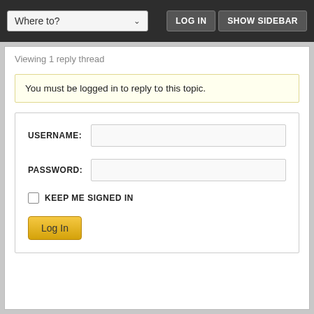Where to? | LOG IN | SHOW SIDEBAR
Viewing 1 reply thread
You must be logged in to reply to this topic.
USERNAME:
PASSWORD:
KEEP ME SIGNED IN
Log In